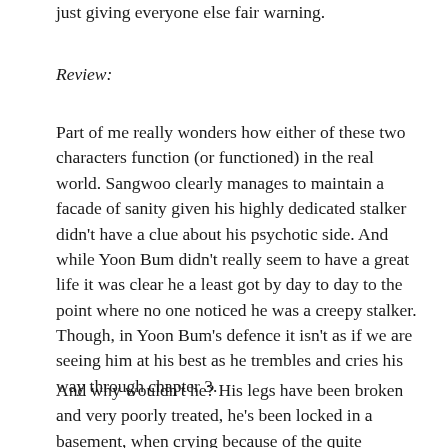just giving everyone else fair warning.
Review:
Part of me really wonders how either of these two characters function (or functioned) in the real world. Sangwoo clearly manages to maintain a facade of sanity given his highly dedicated stalker didn't have a clue about his psychotic side. And while Yoon Bum didn't really seem to have a great life it was clear he a least got by day to day to the point where no one noticed he was a creepy stalker. Though, in Yoon Bum's defence it isn't as if we are seeing him at his best as he trembles and cries his way through chapter 3.
And why wouldn't he? His legs have been broken and very poorly treated, he's been locked in a basement, when crying because of the quite naturally intense